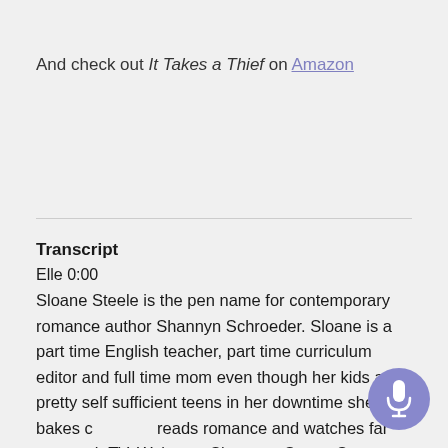And check out It Takes a Thief on Amazon
Transcript
Elle 0:00
Sloane Steele is the pen name for contemporary romance author Shannyn Schroeder. Sloane is a part time English teacher, part time curriculum editor and full time mom even though her kids are pretty self sufficient teens in her downtime she bakes c reads romance and watches far too much TV. Welcome Sloane to Steam Scenes and thank you for